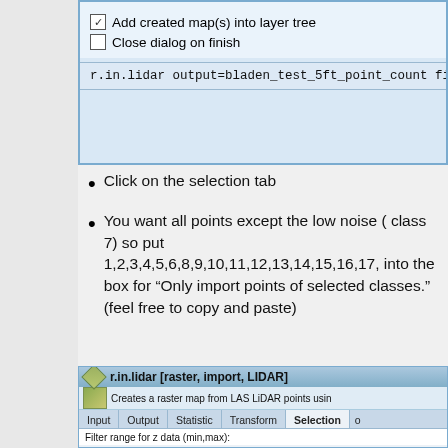[Figure (screenshot): Dialog box showing checkboxes: checked 'Add created map(s) into layer tree' and unchecked 'Close dialog on finish', with a command bar showing 'r.in.lidar output=bladen_test_5ft_point_count file...']
Click on the selection tab
You want all points except the low noise ( class 7) so put 1,2,3,4,5,6,8,9,10,11,12,13,14,15,16,17, into the box for “Only import points of selected classes.” (feel free to copy and paste)
[Figure (screenshot): r.in.lidar [raster, import, LIDAR] dialog showing Selection tab active. Fields visible: Filter range for z data (min,max), Only import points of selected return type, [multiple] Only import points of selected class(es) with value 1,2,3,4,5,6,8,9,10,11,12,13,14,15,16,17,18,19,20...]